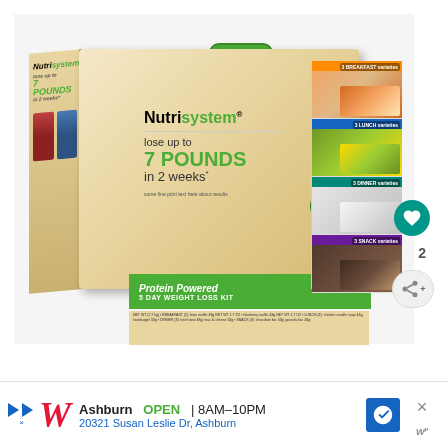[Figure (photo): Nutrisystem Protein Powered 5 Day Weight Loss Kit box product image. Box shows 'lose up to 7 POUNDS in 2 weeks*' text, Nutrisystem logo, green and tan packaging, with food images on the side panel showing breakfast, lunch, dinner, and snack varieties.]
Ashburn  OPEN  8AM–10PM
20321 Susan Leslie Dr, Ashburn